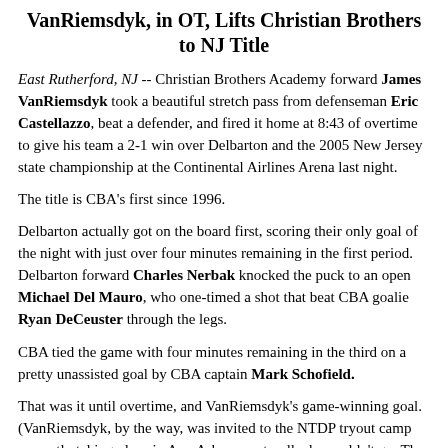VanRiemsdyk, in OT, Lifts Christian Brothers to NJ Title
East Rutherford, NJ -- Christian Brothers Academy forward James VanRiemsdyk took a beautiful stretch pass from defenseman Eric Castellazzo, beat a defender, and fired it home at 8:43 of overtime to give his team a 2-1 win over Delbarton and the 2005 New Jersey state championship at the Continental Airlines Arena last night.
The title is CBA's first since 1996.
Delbarton actually got on the board first, scoring their only goal of the night with just over four minutes remaining in the first period. Delbarton forward Charles Nerbak knocked the puck to an open Michael Del Mauro, who one-timed a shot that beat CBA goalie Ryan DeCeuster through the legs.
CBA tied the game with four minutes remaining in the third on a pretty unassisted goal by CBA captain Mark Schofield.
That was it until overtime, and VanRiemsdyk's game-winning goal. (VanRiemsdyk, by the way, was invited to the NTDP tryout camp currently taking place in Ann Arbor -- naturally, he couldn't go. The NTDP camp ends tonight.)